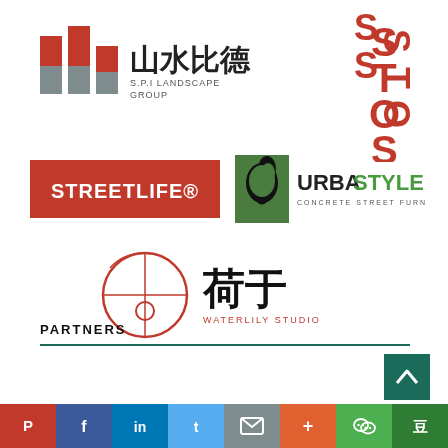[Figure (logo): S.P.I Landscape Group logo with Chinese text 山水比德 and red/grey bar chart icon]
[Figure (logo): STOSS logo in red vertical text]
[Figure (logo): STREETLIFE® logo white text on red rectangle]
[Figure (logo): URBASTYLE CONCRETE STREET FURNITURE logo with green square and horse head icon]
[Figure (logo): Waterlily Studio logo with Chinese text 荷于 and red circle grid emblem]
PARTNERS
[Figure (infographic): Social media sharing bar with Pinterest, Facebook, LinkedIn, Twitter, Email, More, WeChat, Douban buttons]